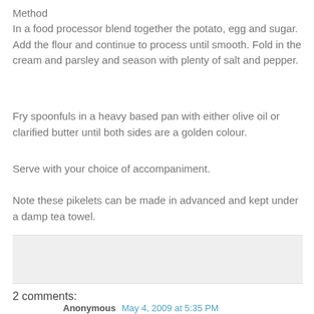Method
In a food processor blend together the potato, egg and sugar. Add the flour and continue to process until smooth. Fold in the cream and parsley and season with plenty of salt and pepper.
Fry spoonfuls in a heavy based pan with either olive oil or clarified butter until both sides are a golden colour.
Serve with your choice of accompaniment.
Note these pikelets can be made in advanced and kept under a damp tea towel.
2 comments:
Anonymous May 4, 2009 at 5:35 PM